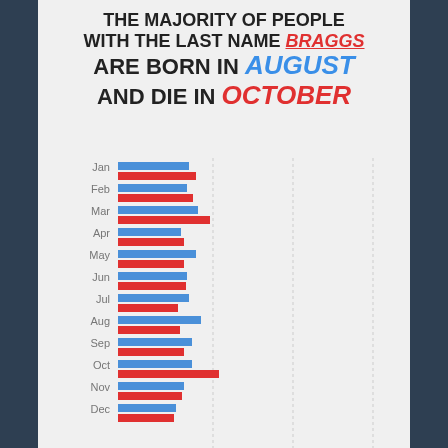THE MAJORITY OF PEOPLE WITH THE LAST NAME BRAGGS ARE BORN IN AUGUST AND DIE IN OCTOBER
[Figure (grouped-bar-chart): Birth and death months for people with last name Braggs]